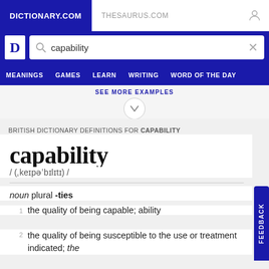DICTIONARY.COM | THESAURUS.COM
capability (search bar)
MEANINGS   GAMES   LEARN   WRITING   WORD OF THE DAY
SEE MORE EXAMPLES
BRITISH DICTIONARY DEFINITIONS FOR CAPABILITY
capability
/ (ˌkeɪpəˈbɪlɪtɪ) /
noun plural -ties
the quality of being capable; ability
the quality of being susceptible to the use or treatment indicated; the